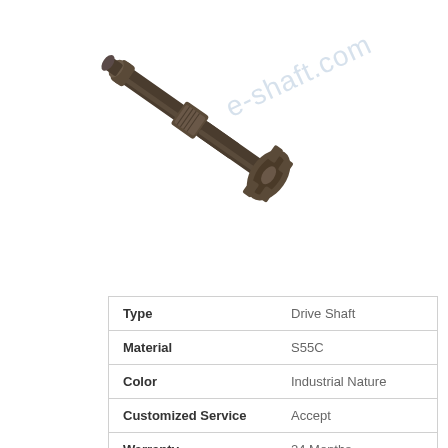[Figure (photo): A drive shaft component photographed diagonally, showing a metallic shaft with universal joint and flange end, dark industrial finish.]
| Property | Value |
| --- | --- |
| Type | Drive Shaft |
| Material | S55C |
| Color | Industrial Nature |
| Customized Service | Accept |
| Warranty | 24 Months |
Specifications
1. We have whole range of drive shaft.
2. Serve some famous drive shaft companies.
3. 24 months quality guarantee.